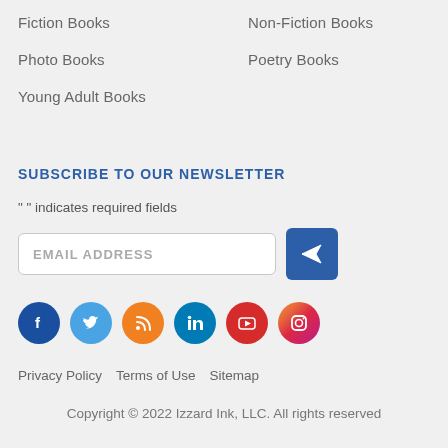Fiction Books
Non-Fiction Books
Photo Books
Poetry Books
Young Adult Books
SUBSCRIBE TO OUR NEWSLETTER
" " indicates required fields
EMAIL ADDRESS
[Figure (infographic): Social media icons row: Facebook, Twitter, RSS, LinkedIn, YouTube, Instagram]
Privacy Policy   Terms of Use   Sitemap
Copyright © 2022 Izzard Ink, LLC. All rights reserved